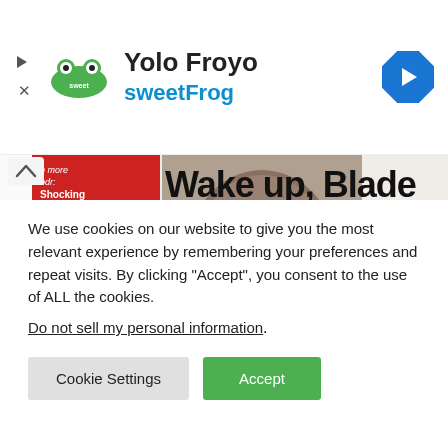[Figure (screenshot): Advertisement banner for sweetFrog Yolo Froyo with logo, title 'Yolo Froyo', subtitle 'sweetFrog', and a blue navigation arrow icon on the right]
[Figure (screenshot): Newspaper front page with headline 'Wake up, Blade', sidebar text about shocking abuse of women in the SANDF (Page 4), plot to oust premier linked to E Cape funds scam (Page 9), and text: Frustrated students mobilise for national shutdown as minister scrambles to solve a funding shortfall crisis that government has known about for months]
We use cookies on our website to give you the most relevant experience by remembering your preferences and repeat visits. By clicking “Accept”, you consent to the use of ALL the cookies.
Do not sell my personal information.
Cookie Settings
Accept